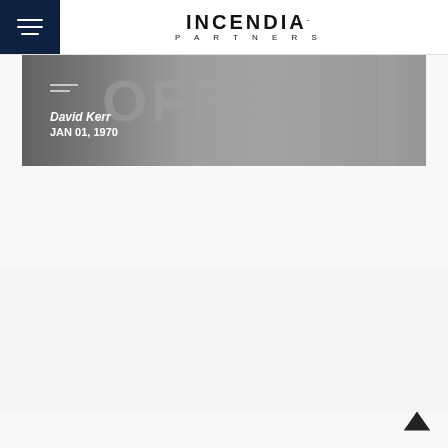Incendia Partners
[Figure (photo): Banner image with text OFFER and vertical bar, overlaid with author name David Kerr and date JAN 01, 1970]
David Kerr
JAN 01, 1970
[Figure (illustration): Faded large watermark-style text in background with card thumbnails below]
[Figure (other): Back to top arrow button in bottom right corner]